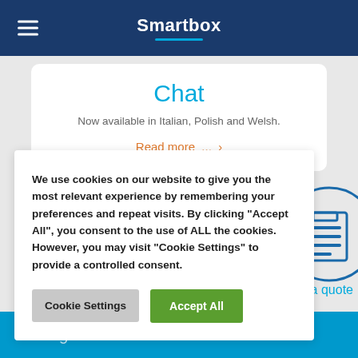Smartbox
Chat
Now available in Italian, Polish and Welsh.
Read more ...
We use cookies on our website to give you the most relevant experience by remembering your preferences and repeat visits. By clicking "Accept All", you consent to the use of ALL the cookies. However, you may visit "Cookie Settings" to provide a controlled consent.
Cookie Settings
Accept All
[Figure (illustration): Blue circle icon with document/clipboard graphic]
st a quote
Mailing list